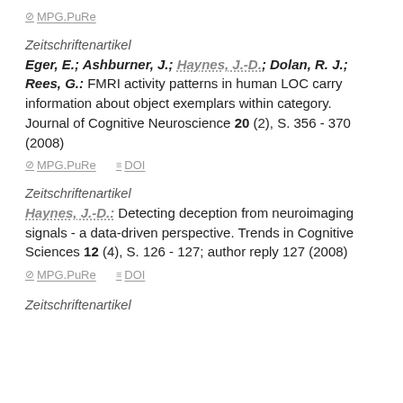⊘ MPG.PuRe
Zeitschriftenartikel
Eger, E.; Ashburner, J.; Haynes, J.-D.; Dolan, R. J.; Rees, G.: FMRI activity patterns in human LOC carry information about object exemplars within category. Journal of Cognitive Neuroscience 20 (2), S. 356 - 370 (2008)
⊘ MPG.PuRe   ≡ DOI
Zeitschriftenartikel
Haynes, J.-D.: Detecting deception from neuroimaging signals - a data-driven perspective. Trends in Cognitive Sciences 12 (4), S. 126 - 127; author reply 127 (2008)
⊘ MPG.PuRe   ≡ DOI
Zeitschriftenartikel